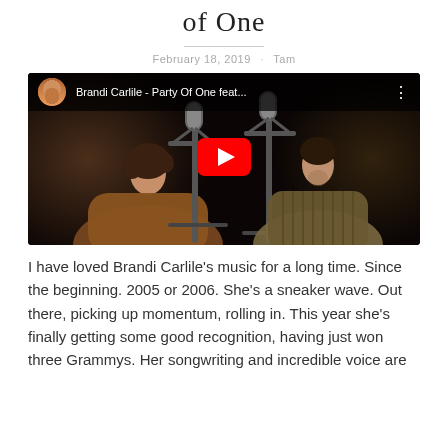of One
February 18, 2019 · Tam
[Figure (screenshot): YouTube video embed showing Brandi Carlile - Party Of One feat... with two singers at microphones and a YouTube play button overlay]
I have loved Brandi Carlile's music for a long time. Since the beginning. 2005 or 2006. She's a sneaker wave. Out there, picking up momentum, rolling in. This year she's finally getting some good recognition, having just won three Grammys. Her songwriting and incredible voice are